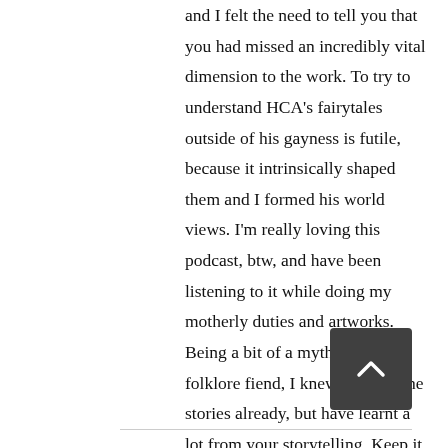and I felt the need to tell you that you had missed an incredibly vital dimension to the work. To try to understand HCA's fairytales outside of his gayness is futile, because it intrinsically shaped them and I formed his world views. I'm really loving this podcast, btw, and have been listening to it while doing my motherly duties and artworks. Being a bit of a mythology and folklore fiend, I knew some of the stories already, but have learnt a lot from your storytelling. Keep it up